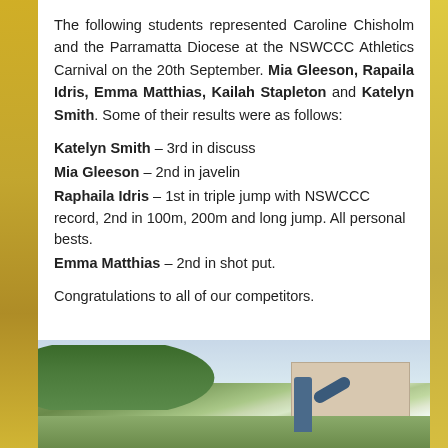The following students represented Caroline Chisholm and the Parramatta Diocese at the NSWCCC Athletics Carnival on the 20th September. Mia Gleeson, Rapaila Idris, Emma Matthias, Kailah Stapleton and Katelyn Smith. Some of their results were as follows:
Katelyn Smith – 3rd in discuss
Mia Gleeson – 2nd in javelin
Raphaila Idris – 1st in triple jump with NSWCCC record, 2nd in 100m, 200m and long jump. All personal bests.
Emma Matthias – 2nd in shot put.
Congratulations to all of our competitors.
[Figure (photo): Outdoor photograph showing trees, a building, and a person appearing to throw a javelin or similar athletic implement.]